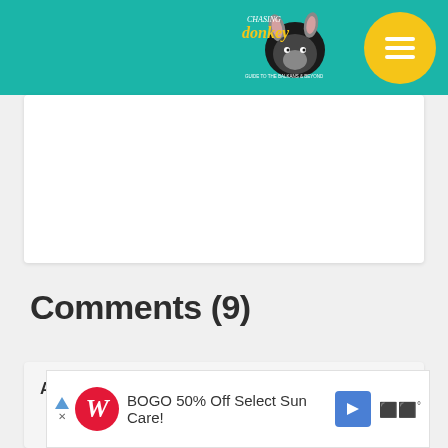[Figure (logo): Chasing the Donkey travel blog logo with teal header bar and hamburger menu button in yellow circle]
[Figure (illustration): White content card area below header]
Comments (9)
Anne says:
[Figure (screenshot): Advertisement banner: Walgreens BOGO 50% Off Select Sun Care with blue arrow icon and weather icon]